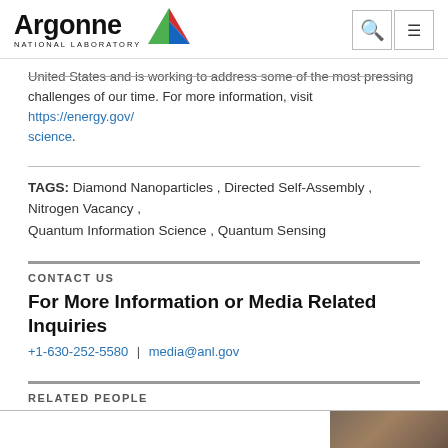Argonne National Laboratory
United States and is working to address some of the most pressing challenges of our time. For more information, visit https://energy.gov/science.
TAGS: Diamond Nanoparticles, Directed Self-Assembly, Nitrogen Vacancy, Quantum Information Science, Quantum Sensing
CONTACT US
For More Information or Media Related Inquiries
+1-630-252-5580 | media@anl.gov
RELATED PEOPLE
[Figure (photo): Photo of a person, partially visible at bottom right]